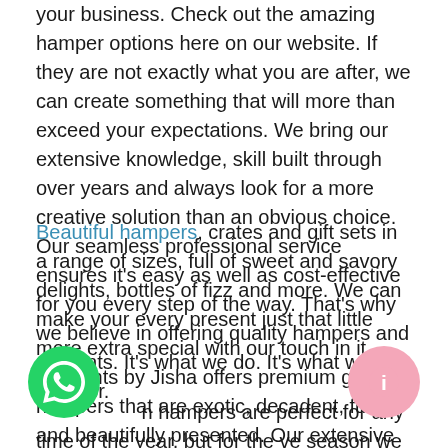your business. Check out the amazing hamper options here on our website. If they are not exactly what you are after, we can create something that will more than exceed your expectations. We bring our extensive knowledge, skill built through over years and always look for a more creative solution than an obvious choice. Our seamless professional service ensures it's easy as well as cost-effective for you every step of the way. That's why we believe in offering quality hampers and presents. It's what we do. It's what we are here for.
Beautiful hampers, crates and gift sets in a range of sizes, full of sweet and savory delights, bottles of fizz and more. We can make your every present just that little more extra special with our touch in it. Moments by Jisha offers premium gift hampers that are exotic, decadent, fun and beautifully presented. Our extensive range includes something for everyone. Whether you want to excite their taste buds, help them relax or beautify their home, we'll help you give them the best of all possible worlds.
...n hampers are perfect for any time of the year, but for th...ve season we have a truly spectacular selection available, we've even designed a gift with everything you'd...